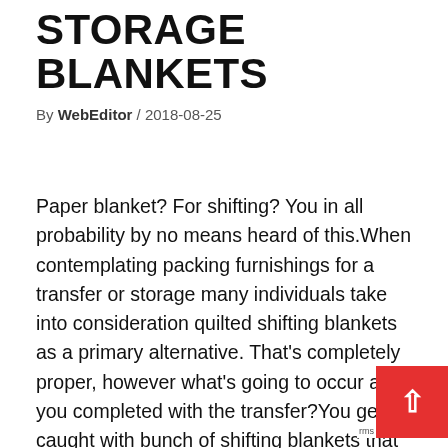STORAGE BLANKETS
By WebEditor / 2018-08-25
Paper blanket? For shifting? You in all probability by no means heard of this.When contemplating packing furnishings for a transfer or storage many individuals take into consideration quilted shifting blankets as a primary alternative. That's completely proper, however what's going to occur after you completed with the transfer?You get caught with bunch of shifting blankets that you'll not want in any foreseeable future...You may attempt to promote it on e-bay, however on-line auctions for shifting and storage blankets are already crammed with used packing blankets on the market.